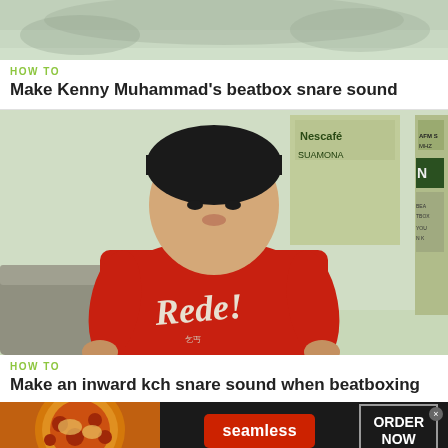[Figure (photo): Cropped top portion of a video thumbnail showing blurred background, partially visible person or scene]
HOW TO
Make Kenny Muhammad's beatbox snare sound
[Figure (photo): Young person wearing a red t-shirt with 'Rede!' text, sitting in a room with posters in the background including Nescafe brand signage]
HOW TO
Make an inward kch snare sound when beatboxing
[Figure (other): Advertisement banner: pizza image on left, seamless red logo button in center, ORDER NOW button with border on right, dark background]